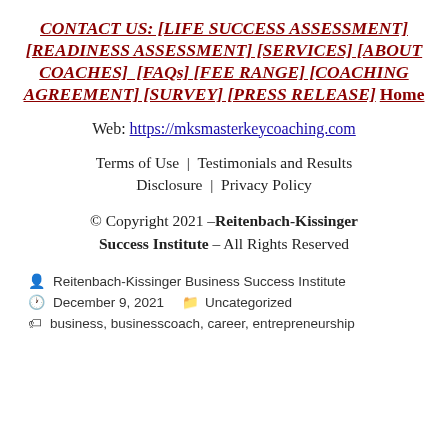CONTACT US: [LIFE SUCCESS ASSESSMENT] [READINESS ASSESSMENT] [SERVICES] [ABOUT COACHES] [FAQs] [FEE RANGE] [COACHING AGREEMENT] [SURVEY] [PRESS RELEASE] Home
Web: https://mksmasterkeycoaching.com
Terms of Use | Testimonials and Results Disclosure | Privacy Policy
© Copyright 2021 –Reitenbach-Kissinger Success Institute – All Rights Reserved
Reitenbach-Kissinger Business Success Institute
December 9, 2021    Uncategorized
business, businesscoach, career, entrepreneurship